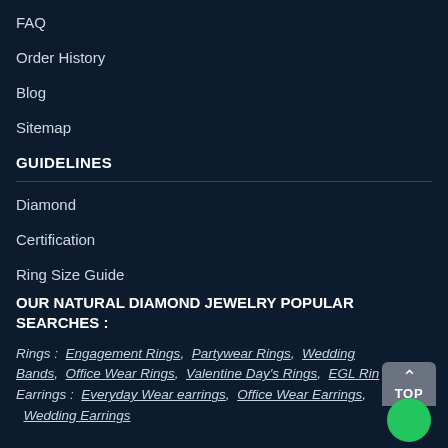FAQ
Order History
Blog
Sitemap
GUIDELINES
Diamond
Certification
Ring Size Guide
OUR NATURAL DIAMOND JEWELRY POPULAR SEARCHES :
Rings :  Engagement Rings,  Partywear Rings,  Wedding Bands,  Office Wear Rings,  Valentine Day's Rings,  EGL Rings  Earrings :  Everyday Wear earrings,  Office Wear Earrings,   Wedding Earrings